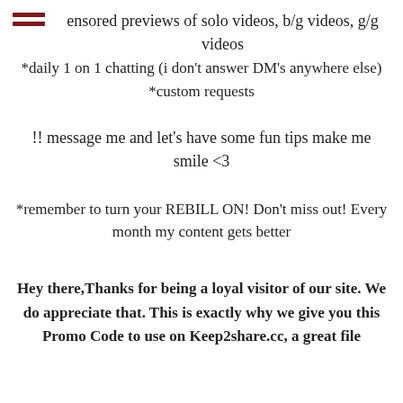[Figure (other): Hamburger menu icon (three horizontal dark red bars)]
ensored previews of solo videos, b/g videos, g/g videos
*daily 1 on 1 chatting (i don't answer DM's anywhere else)
*custom requests
!! message me and let's have some fun tips make me smile <3
*remember to turn your REBILL ON! Don't miss out! Every month my content gets better
Hey there,Thanks for being a loyal visitor of our site. We do appreciate that. This is exactly why we give you this Promo Code to use on Keep2share.cc, a great file